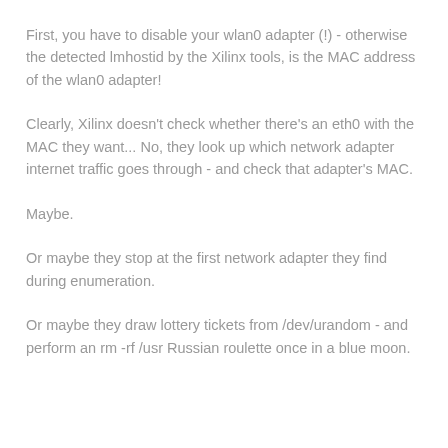First, you have to disable your wlan0 adapter (!) - otherwise the detected lmhostid by the Xilinx tools, is the MAC address of the wlan0 adapter!
Clearly, Xilinx doesn't check whether there's an eth0 with the MAC they want... No, they look up which network adapter internet traffic goes through - and check that adapter's MAC.
Maybe.
Or maybe they stop at the first network adapter they find during enumeration.
Or maybe they draw lottery tickets from /dev/urandom - and perform an rm -rf /usr Russian roulette once in a blue moon.